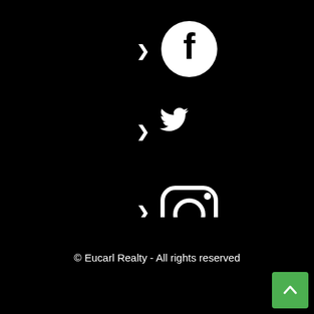[Figure (illustration): Social media icons row with chevrons: Facebook (circle with f), Twitter (bird), Instagram (camera), YouTube (play button rectangle), each preceded by a white chevron/arrow on black background]
© Eucarl Realty - All rights reserved